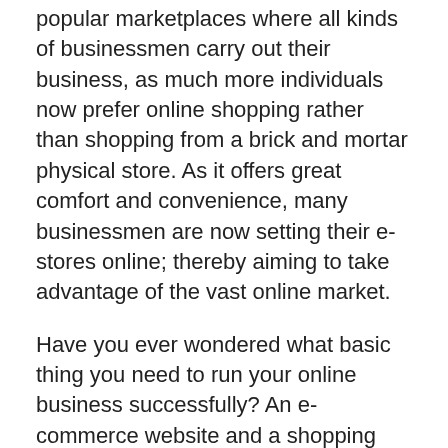popular marketplaces where all kinds of businessmen carry out their business, as much more individuals now prefer online shopping rather than shopping from a brick and mortar physical store. As it offers great comfort and convenience, many businessmen are now setting their e-stores online; thereby aiming to take advantage of the vast online market.
Have you ever wondered what basic thing you need to run your online business successfully? An e-commerce website and a shopping cart software. While your website displays all your products and services which are available for sale, the shopping cart helps the customers place the selected products at one place. It further facilitates smooth and prompt transactions; thereby making their shopping experience hassle free. This software is provided to businessmen who run